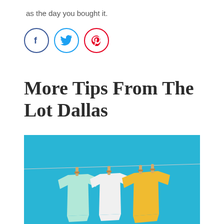as the day you bought it.
[Figure (infographic): Three social media share buttons: Facebook (blue circle with f), Twitter (light blue circle with bird), Pinterest (red circle with p)]
More Tips From The Lot Dallas
[Figure (photo): Three baby onesies hanging on a clothesline with wooden pegs against a bright blue background. From left to right: mint green, white, and yellow onesies.]